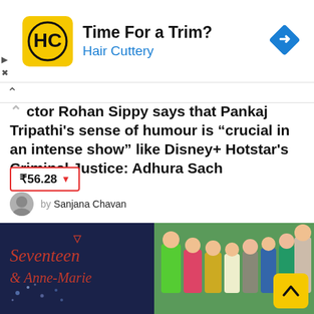[Figure (infographic): Hair Cuttery advertisement banner with yellow square logo showing 'HC' text, headline 'Time For a Trim?' and subtext 'Hair Cuttery' with blue navigation diamond icon. Play and close controls on left.]
ctor Rohan Sippy says that Pankaj Tripathi’s sense of humour is “crucial in an intense show” like Disney+ Hotstar’s Criminal Justice: Adhura Sach
₹56.28 ▼
by Sanjana Chavan
[Figure (photo): Split image: left side shows dark blue background with Seventeen and Anne-Marie album/event artwork in red italic text with a small logo; right side shows a group of young people (K-pop group) standing together outdoors in colorful outfits.]